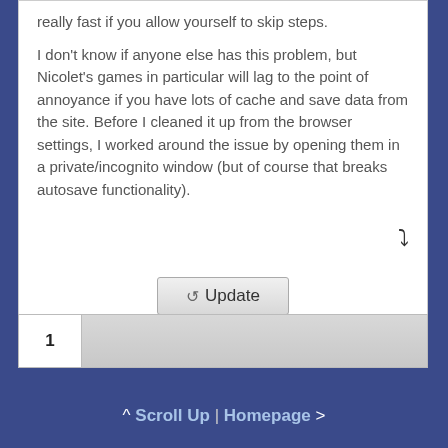really fast if you allow yourself to skip steps.

I don't know if anyone else has this problem, but Nicolet's games in particular will lag to the point of annoyance if you have lots of cache and save data from the site. Before I cleaned it up from the browser settings, I worked around the issue by opening them in a private/incognito window (but of course that breaks autosave functionality).
[Figure (screenshot): Reply icon (curved arrow pointing right)]
[Figure (screenshot): Update button with refresh icon]
[Figure (screenshot): Pagination bar showing page 1]
^ Scroll Up | Homepage >